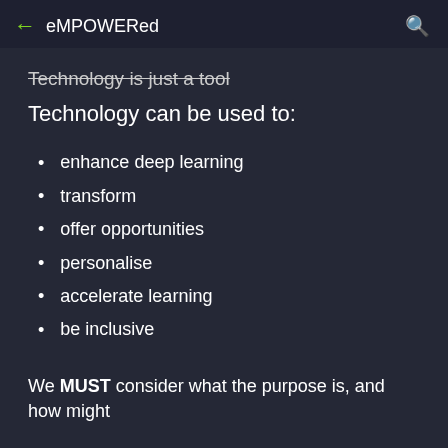eMPOWERed
Technology is just a tool
Technology can be used to:
enhance deep learning
transform
offer opportunities
personalise
accelerate learning
be inclusive
We MUST consider what the purpose is, and how might